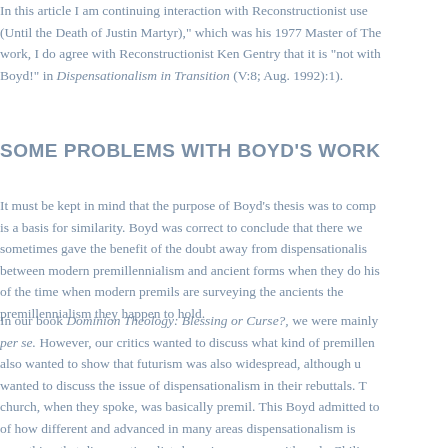In this article I am continuing interaction with Reconstructionist use (Until the Death of Justin Martyr)," which was his 1977 Master of The work, I do agree with Reconstructionist Ken Gentry that it is "not with Boyd!" in Dispensationalism in Transition (V:8; Aug. 1992):1).
SOME PROBLEMS WITH BOYD'S WORK
It must be kept in mind that the purpose of Boyd's thesis was to comp is a basis for similarity. Boyd was correct to conclude that there we sometimes gave the benefit of the doubt away from dispensationalis between modern premillennialism and ancient forms when they do his of the time when modern premils are surveying the ancients the premillennialism they happen to hold.
In our book Dominion Theology: Blessing or Curse?, we were mainly per se. However, our critics wanted to discuss what kind of premillen also wanted to show that futurism was also widespread, although u wanted to discuss the issue of dispensationalism in their rebuttals. T church, when they spoke, was basically premil. This Boyd admitted to of how different and advanced in many areas dispensationalism is something that dispensationalists have in common with early Chiliasm you cannot have Dispensationalism without premillennialism.